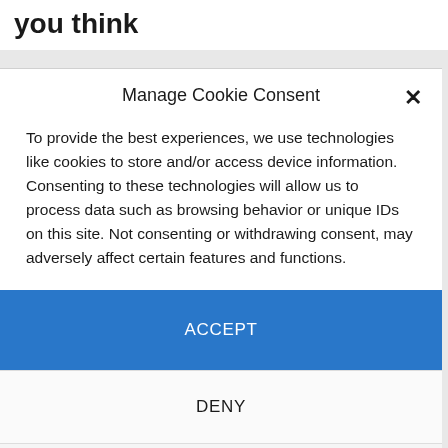you think
Manage Cookie Consent
To provide the best experiences, we use technologies like cookies to store and/or access device information. Consenting to these technologies will allow us to process data such as browsing behavior or unique IDs on this site. Not consenting or withdrawing consent, may adversely affect certain features and functions.
ACCEPT
DENY
VIEW PREFERENCES